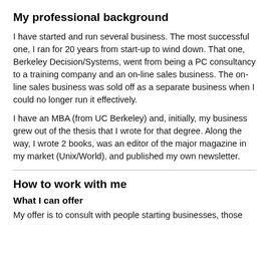My professional background
I have started and run several business. The most successful one, I ran for 20 years from start-up to wind down. That one, Berkeley Decision/Systems, went from being a PC consultancy to a training company and an on-line sales business. The on-line sales business was sold off as a separate business when I could no longer run it effectively.
I have an MBA (from UC Berkeley) and, initially, my business grew out of the thesis that I wrote for that degree. Along the way, I wrote 2 books, was an editor of the major magazine in my market (Unix/World), and published my own newsletter.
How to work with me
What I can offer
My offer is to consult with people starting businesses, those